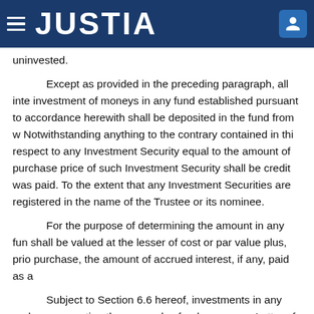JUSTIA
uninvested.
Except as provided in the preceding paragraph, all interest earned from the investment of moneys in any fund established pursuant to accordance herewith shall be deposited in the fund from which it was earned. Notwithstanding anything to the contrary contained in this respect to any Investment Security equal to the amount of purchase price of such Investment Security shall be credited to the fund from which it was paid. To the extent that any Investment Securities are registered in the name of the Trustee or its nominee.
For the purpose of determining the amount in any fund shall be valued at the lesser of cost or par value plus, prior to purchase, the amount of accrued interest, if any, paid as a
Subject to Section 6.6 hereof, investments in any and all representing the proceeds of a draw on any Letter of Credit remarketing proceeds, Available Moneys, moneys being ag